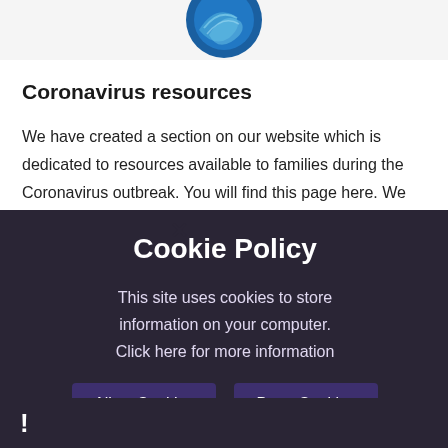[Figure (logo): Circular logo with blue wave/leaf design, partially visible at top of page]
Coronavirus resources
We have created a section on our website which is dedicated to resources available to families during the Coronavirus outbreak. You will find this page here. We hope you will find these links helpful, and we will try to add more items on a regular basis. We hope that you are all keeping well and safe.
[Figure (screenshot): Cookie Policy overlay popup with dark background. Title: Cookie Policy. Body text: This site uses cookies to store information on your computer. Click here for more information. Buttons: Allow Cookies, Deny Cookies. Close X button visible at top.]